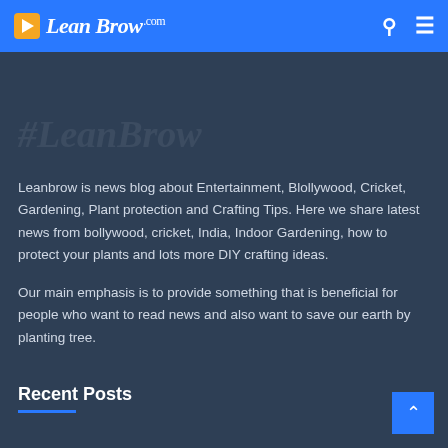LeanBrow.com
#LeanBrow
Leanbrow is news blog about Entertainment, Blollywood, Cricket, Gardening, Plant protection and Crafting Tips. Here we share latest news from bollywood, cricket, India, Indoor Gardening, how to protect your plants and lots more DIY crafting ideas.
Our main emphasis is to provide something that is beneficial for people who want to read news and also want to save our earth by planting tree.
Recent Posts